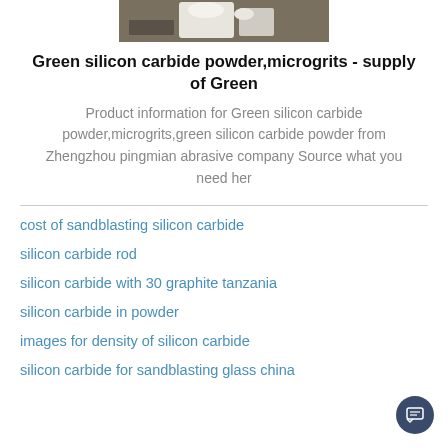[Figure (photo): Photo of green silicon carbide powder product, white container/powder on dark background, cropped at top]
Green silicon carbide powder,microgrits - supply of Green
Product information for Green silicon carbide powder,microgrits,green silicon carbide powder from Zhengzhou pingmian abrasive company Source what you need her
cost of sandblasting silicon carbide
silicon carbide rod
silicon carbide with 30 graphite tanzania
silicon carbide in powder
images for density of silicon carbide
silicon carbide for sandblasting glass china